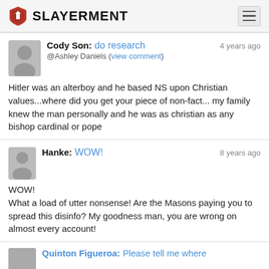SLAYERMENT
Cody Son: do research
@Ashley Daniels (view comment)
4 years ago
Hitler was an alterboy and he based NS upon Christian values...where did you get your piece of non-fact... my family knew the man personally and he was as christian as any bishop cardinal or pope
Hanke: WOW!
8 years ago
WOW!
What a load of utter nonsense! Are the Masons paying you to spread this disinfo? My goodness man, you are wrong on almost every account!
Quinton Figueroa: Please tell me where